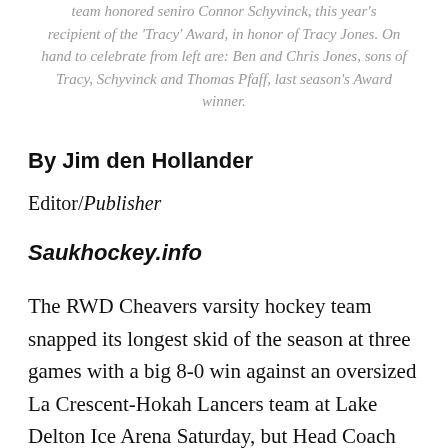team honored seniro Connor Schyvinck, this year's recipient of the 'Tracy' Award, in honor of Tracy Jones. On hand to celebrate from left are: Ben and Chris Jones, sons of Tracy, Schyvinck and Thomas Pfaff, last season's Award winner.
By Jim den Hollander
Editor/Publisher
Saukhockey.info
The RWD Cheavers varsity hockey team snapped its longest skid of the season at three games with a big 8-0 win against an oversized La Crescent-Hokah Lancers team at Lake Delton Ice Arena Saturday, but Head Coach Neil Mattson said after the game (see video)